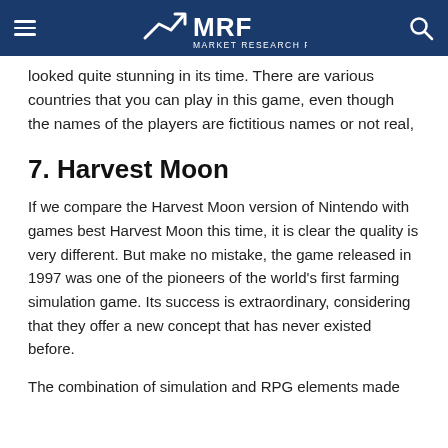MRF Market Research Feed
looked quite stunning in its time. There are various countries that you can play in this game, even though the names of the players are fictitious names or not real,
7. Harvest Moon
If we compare the Harvest Moon version of Nintendo with games best Harvest Moon this time, it is clear the quality is very different. But make no mistake, the game released in 1997 was one of the pioneers of the world's first farming simulation game. Its success is extraordinary, considering that they offer a new concept that has never existed before.
The combination of simulation and RPG elements made